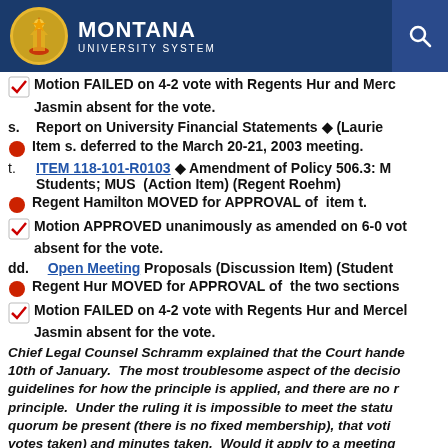Montana University System
Motion FAILED on 4-2 vote with Regents Hur and Merc... Jasmin absent for the vote.
s. Report on University Financial Statements ◆ (Laurie...
Item s. deferred to the March 20-21, 2003 meeting.
t. ITEM 118-101-R0103 ◆ Amendment of Policy 506.3: M... Students; MUS (Action Item) (Regent Roehm)
Regent Hamilton MOVED for APPROVAL of item t.
Motion APPROVED unanimously as amended on 6-0 vote... absent for the vote.
dd. Open Meeting Proposals (Discussion Item) (Student...
Regent Hur MOVED for APPROVAL of the two sections...
Motion FAILED on 4-2 vote with Regents Hur and Mercel... Jasmin absent for the vote.
Chief Legal Counsel Schramm explained that the Court handed... 10th of January. The most troublesome aspect of the decision... guidelines for how the principle is applied, and there are no r... principle. Under the ruling it is impossible to meet the statu... quorum be present (there is no fixed membership), that voting... votes taken) and minutes taken. Would it apply to a meeting... a president, or two presidents, Rod Sundsted with the Chief L...
Joyce Scott with the Chief Academic Officers, Presidents with... meetings require notice, minutes and votes. Mr. Schramm s...